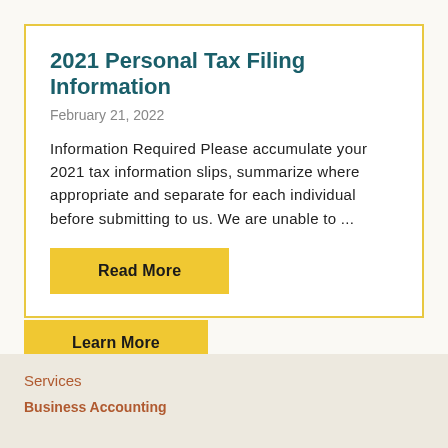2021 Personal Tax Filing Information
February 21, 2022
Information Required Please accumulate your 2021 tax information slips, summarize where appropriate and separate for each individual before submitting to us. We are unable to ...
Read More
Learn More
Services
Business Accounting